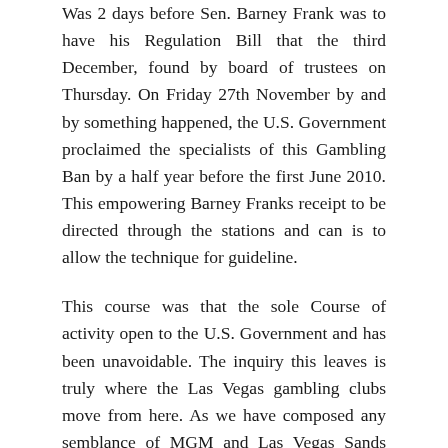Was 2 days before Sen. Barney Frank was to have his Regulation Bill that the third December, found by board of trustees on Thursday. On Friday 27th November by and by something happened, the U.S. Government proclaimed the specialists of this Gambling Ban by a half year before the first June 2010. This empowering Barney Franks receipt to be directed through the stations and can is to allow the technique for guideline.
This course was that the sole Course of activity open to the U.S. Government and has been unavoidable. The inquiry this leaves is truly where the Las Vegas gambling clubs move from here. As we have composed any semblance of MGM and Las Vegas Sands have not been proactive for the authorization that was approaching. Is that our entryway is consistently open in the event that they need any guidance and try on situs judi bola. As expressed is